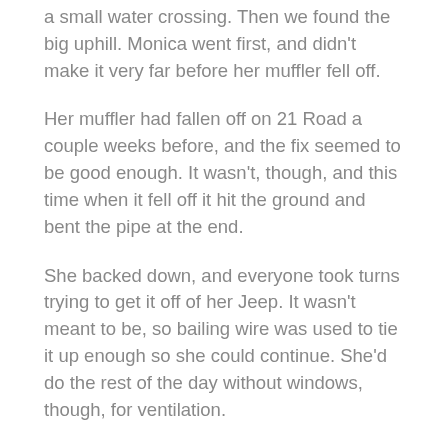a small water crossing. Then we found the big uphill. Monica went first, and didn't make it very far before her muffler fell off.
Her muffler had fallen off on 21 Road a couple weeks before, and the fix seemed to be good enough. It wasn't, though, and this time when it fell off it hit the ground and bent the pipe at the end.
She backed down, and everyone took turns trying to get it off of her Jeep. It wasn't meant to be, so bailing wire was used to tie it up enough so she could continue. She'd do the rest of the day without windows, though, for ventilation.
Walt followed up the hill, and Mark wanted to find the other way up. He ventured off for a bit, but